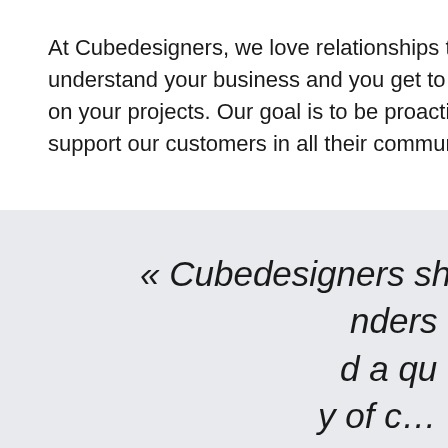At Cubedesigners, we love relationships that last. We understand your business and you get to know the team on your projects. Our goal is to be proactive and c… support our customers in all their communication…
« Cubedesigners sho… unders… d a qu… y of c… They have always known…
By using this website, you accept the use of cookies in order to provide you with an optimal browsing experience and to collect information about use of this site.
Learn more